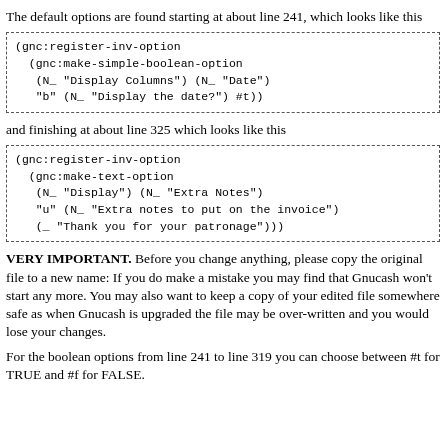The default options are found starting at about line 241, which looks like this
[Figure (screenshot): (gnc:register-inv-option
  (gnc:make-simple-boolean-option
   (N_ "Display Columns") (N_ "Date")
   "b" (N_ "Display the date?") #t))]
and finishing at about line 325 which looks like this
[Figure (screenshot): (gnc:register-inv-option
  (gnc:make-text-option
   (N_ "Display") (N_ "Extra Notes")
   "u" (N_ "Extra notes to put on the invoice")
   (_ "Thank you for your patronage")))]
VERY IMPORTANT. Before you change anything, please copy the original file to a new name: If you do make a mistake you may find that Gnucash won't start any more. You may also want to keep a copy of your edited file somewhere safe as when Gnucash is upgraded the file may be over-written and you would lose your changes.
For the boolean options from line 241 to line 319 you can choose between #t for TRUE and #f for FALSE.